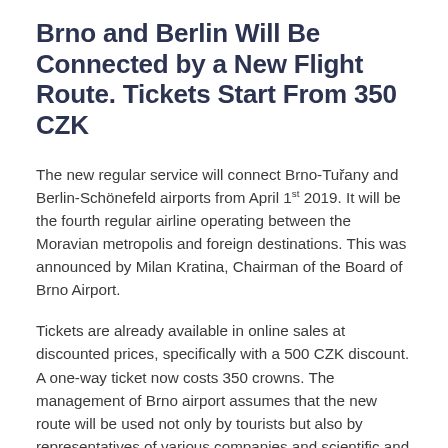Brno and Berlin Will Be Connected by a New Flight Route. Tickets Start From 350 CZK
The new regular service will connect Brno-Tuřany and Berlin-Schönefeld airports from April 1st 2019. It will be the fourth regular airline operating between the Moravian metropolis and foreign destinations. This was announced by Milan Kratina, Chairman of the Board of Brno Airport.
Tickets are already available in online sales at discounted prices, specifically with a 500 CZK discount. A one-way ticket now costs 350 crowns. The management of Brno airport assumes that the new route will be used not only by tourists but also by representatives of various companies and scientific and research centers from Brno and its surroundings for their meetings in Berlin. Thanks